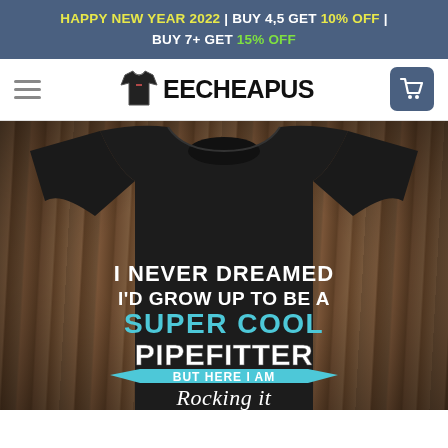HAPPY NEW YEAR 2022 | BUY 4,5 GET 10% OFF | BUY 7+ GET 15% OFF
[Figure (logo): Teecheapus logo with t-shirt icon and hamburger menu and cart button]
[Figure (photo): Black t-shirt on wood background with text: I NEVER DREAMED I'D GROW UP TO BE A SUPER COOL PIPEFITTER BUT HERE I AM Rocking it]